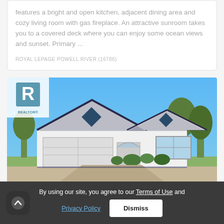features a bright and open kitchen, adjacent dining area and cozy living room with gas fireplace. An attractive sunroom takes you to a covered deck where you can enjoy some ocean views and sunset. Primary ...
ROYAL LEPAGE POWELL RIVER (16786)
[Figure (photo): Exterior photo of a white single-story ranch-style house with dark roof, two-car garage, front garden landscaping, and blue sky background. Realtor logo overlaid in top-left corner.]
By using our site, you agree to our Terms of Use and Privacy Policy
Dismiss